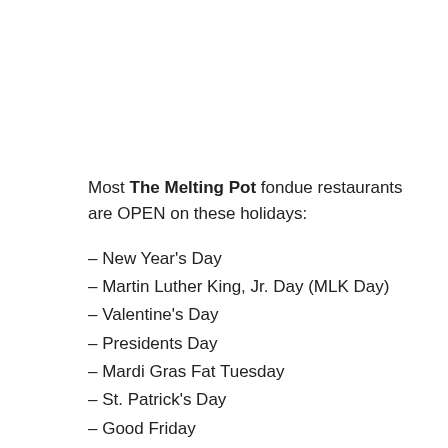Most The Melting Pot fondue restaurants are OPEN on these holidays:
– New Year's Day
– Martin Luther King, Jr. Day (MLK Day)
– Valentine's Day
– Presidents Day
– Mardi Gras Fat Tuesday
– St. Patrick's Day
– Good Friday
– Easter Sunday 11:00AM-10:00PM
– Easter Monday
– Cinco de Mayo
– Mother's Day 11:00AM-10:00PM
– Memorial Day